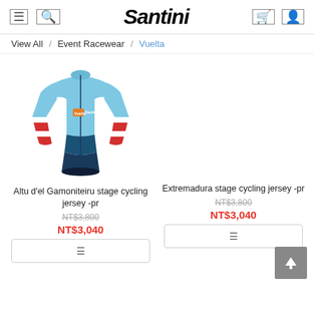Santini
View All / Event Racewear / Vuelta
[Figure (photo): Santini Altu d'el Gamoniteiru stage cycling jersey in light blue, red, white and dark blue colors]
Altu d'el Gamoniteiru stage cycling jersey -pr
NT$3,800 (strikethrough) NT$3,040
Extremadura stage cycling jersey -pr
NT$3,800 (strikethrough) NT$3,040